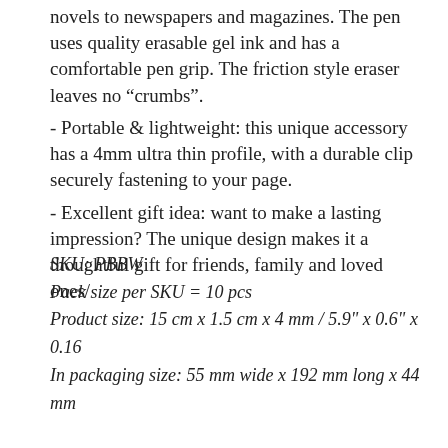novels to newspapers and magazines. The pen uses quality erasable gel ink and has a comfortable pen grip. The friction style eraser leaves no “crumbs”.
- Portable & lightweight: this unique accessory has a 4mm ultra thin profile, with a durable clip securely fastening to your page.
- Excellent gift idea: want to make a lasting impression? The unique design makes it a thoughtful gift for friends, family and loved ones/
SKU: PBBW
Pack size per SKU = 10 pcs
Product size: 15 cm x 1.5 cm x 4 mm / 5.9" x 0.6" x 0.16
In packaging size: 55 mm wide x 192 mm long x 44 mm